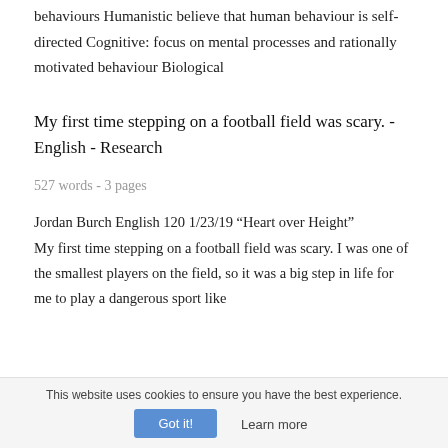behaviours Humanistic believe that human behaviour is self-directed Cognitive: focus on mental processes and rationally motivated behaviour Biological
My first time stepping on a football field was scary. - English - Research
527 words - 3 pages
Jordan Burch English 120 1/23/19 “Heart over Height” My first time stepping on a football field was scary. I was one of the smallest players on the field, so it was a big step in life for me to play a dangerous sport like
This website uses cookies to ensure you have the best experience.
Got it!
Learn more